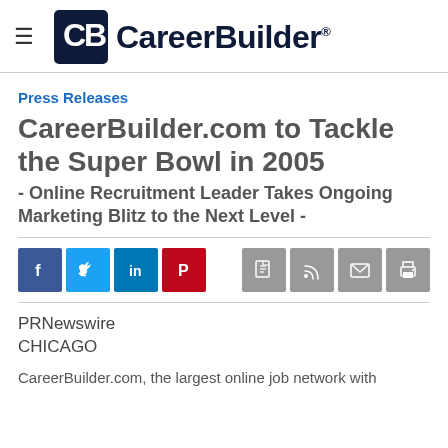≡  CareerBuilder®
Press Releases
CareerBuilder.com to Tackle the Super Bowl in 2005
- Online Recruitment Leader Takes Ongoing Marketing Blitz to the Next Level -
[Figure (infographic): Social share buttons: Facebook, Twitter, LinkedIn, Pinterest, and action buttons: PDF, RSS, email, print]
PRNewswire
CHICAGO
CareerBuilder.com, the largest online job network with